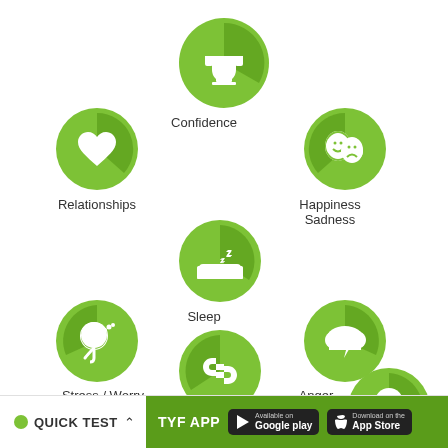[Figure (infographic): Mental wellness app category icons: Confidence (trophy), Relationships (heart), Happiness/Sadness (theatre masks), Sleep (bed with Zs), Stress/Worry (head with dots), Anger (storm cloud with lightning), Resilience (chain links), and a partially visible lightbulb icon. Each icon is inside a green circle with a darker green segment. Labels appear below each circle.]
Confidence
Relationships
Happiness
Sadness
Sleep
Stress / Worry
Anger
Resilience
● QUICK TEST ∧    TYF APP   Google play   App Store